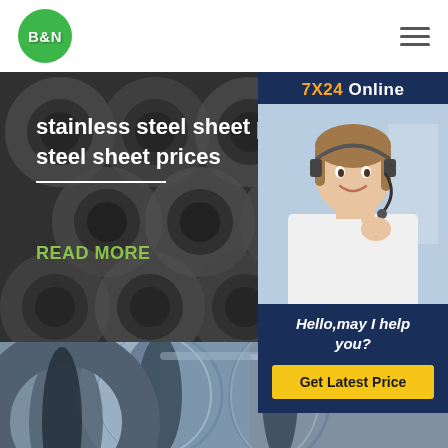[Figure (logo): B&N logo: green circle with white bold text B&N]
[Figure (photo): Hero banner: stainless steel sheet/pipe rings close-up in dark monochrome]
stainless steel sheet prices s steel sheet prices
READ MORE
[Figure (photo): Customer service representative wearing headset, smiling, overlaid on chat widget with 7X24 Online header]
Hello,may I help you?
Get Latest Price
[Figure (photo): Second product image: grey steel pipes/cylinders close-up]